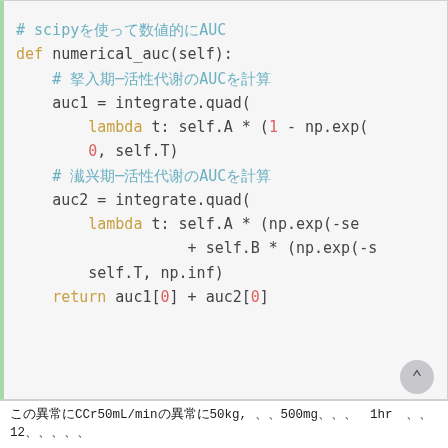[Figure (screenshot): Code block showing Python method numerical_auc using scipy integrate.quad for two AUC computations with lambda functions]
xxxxxxxxCCr50mL/minxxx50kg, xxx500mgxxxxxx1hrxxxxx12xxxxxxxxx